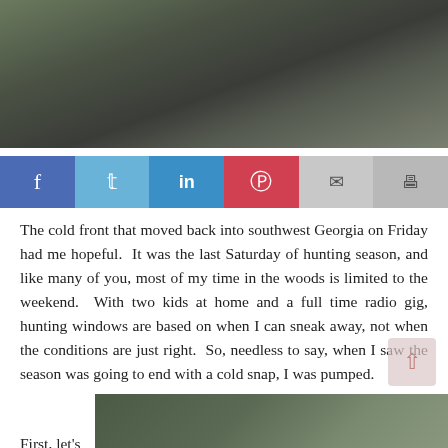[Figure (photo): Outdoor hunting scene showing a person in gray hoodie lying or leaning against a fence or log in a wooded area with brush and trees in background]
[Figure (infographic): Social media share bar with buttons for Facebook (blue), Twitter (light blue), LinkedIn (blue), Pinterest (red), Email (gray), and Print (gray)]
The cold front that moved back into southwest Georgia on Friday had me hopeful.  It was the last Saturday of hunting season, and like many of you, most of my time in the woods is limited to the weekend.  With two kids at home and a full time radio gig, hunting windows are based on when I can sneak away, not when the conditions are just right.  So, needless to say, when I saw the season was going to end with a cold snap, I was pumped.
First, let's
[Figure (photo): Outdoor woodland/nature scene, partial view at bottom right of page]